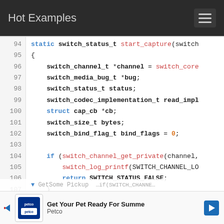Hot Examples
[Figure (screenshot): Source code viewer showing C code lines 94–109 with syntax highlighting. Blue keywords: static, struct, if, return. Red identifiers: start_capture, switch_core, switch_channel_get_private, switch_log_printf. Orange literal: 0. Code includes variable declarations (switch_channel_t, switch_media_bug_t, switch_status_t, switch_codec_implementation_t, struct cap_cb, switch_size_t, switch_bind_flag_t) and conditionals.]
[Figure (infographic): Advertisement banner for Petco: logo with blue/white colors, text 'Get Your Pet Ready For Summe[r]' with navigation arrows on each side.]